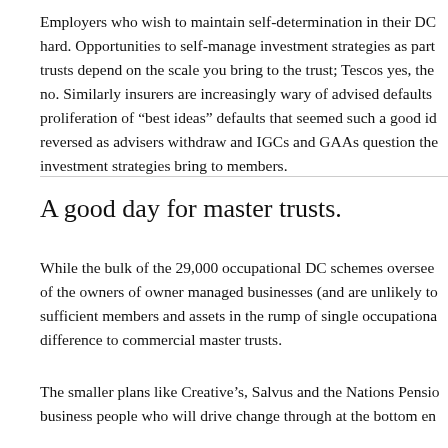Employers who wish to maintain self-determination in their DC hard. Opportunities to self-manage investment strategies as part trusts depend on the scale you bring to the trust; Tescos yes, the no. Similarly insurers are increasingly wary of advised defaults proliferation of “best ideas” defaults that seemed such a good id reversed as advisers withdraw and IGCs and GAAs question the investment strategies bring to members.
A good day for master trusts.
While the bulk of the 29,000 occupational DC schemes oversee of the owners of owner managed businesses (and are unlikely to sufficient members and assets in the rump of single occupationa difference to commercial master trusts.
The smaller plans like Creative’s, Salvus and the Nations Pensio business people who will drive change through at the bottom en